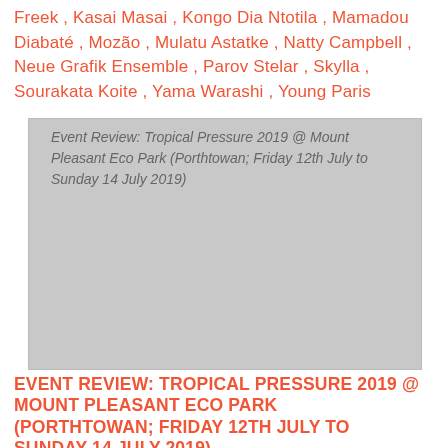Freek , Kasai Masai , Kongo Dia Ntotila , Mamadou Diabaté , Mozão , Mulatu Astatke , Natty Campbell , Neue Grafik Ensemble , Parov Stelar , Skylla , Sourakata Koite , Yama Warashi , Young Paris
[Figure (photo): Event Review: Tropical Pressure 2019 @ Mount Pleasant Eco Park (Porthtowan; Friday 12th July to Sunday 14 July 2019) — image placeholder with grey background]
EVENT REVIEW: TROPICAL PRESSURE 2019 @ MOUNT PLEASANT ECO PARK (PORTHTOWAN; FRIDAY 12TH JULY TO SUNDAY 14 JULY 2019)